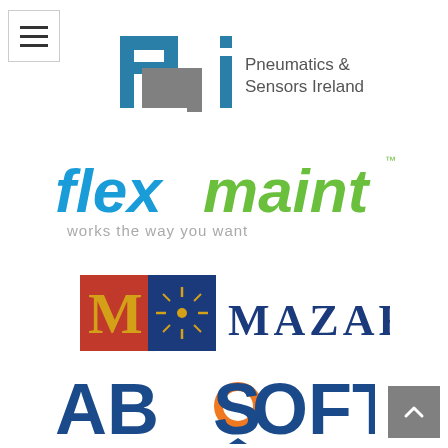[Figure (logo): PSI Pneumatics & Sensors Ireland logo - teal/grey letter marks with company name]
[Figure (logo): Flexmaint logo - blue and green text with tagline 'works the way you want']
[Figure (logo): Mazars logo - red and blue square emblem with stylized M and star wheel, MAZARS text]
[Figure (logo): Absoft logo - dark blue bold letters with orange circle O and blue arrow drop]